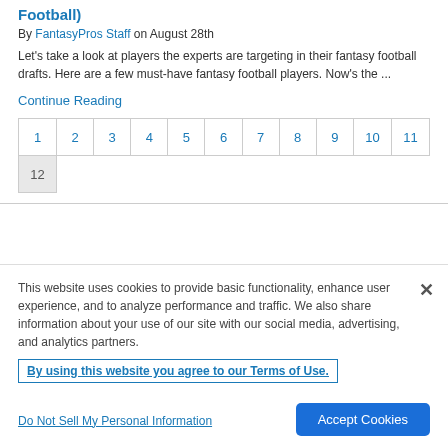Football)
By FantasyPros Staff on August 28th
Let's take a look at players the experts are targeting in their fantasy football drafts. Here are a few must-have fantasy football players. Now's the ...
Continue Reading
| 1 | 2 | 3 | 4 | 5 | 6 | 7 | 8 | 9 | 10 | 11 |
| 12 |
This website uses cookies to provide basic functionality, enhance user experience, and to analyze performance and traffic. We also share information about your use of our site with our social media, advertising, and analytics partners.
By using this website you agree to our Terms of Use.
Do Not Sell My Personal Information
Accept Cookies